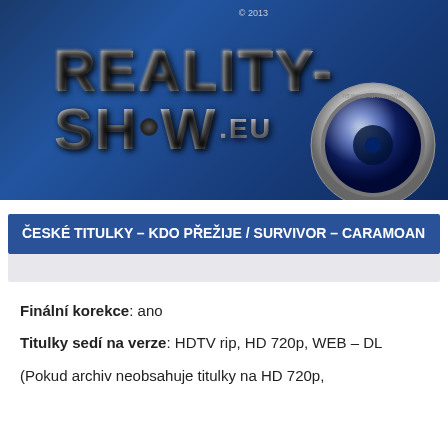[Figure (logo): Reality-Show.EU website logo banner with metallic 3D text on blue gradient background and camera lens graphic]
ČESKÉ TITULKY – KDO PŘEŽIJE / SURVIVOR – CARAMOAN
Finální korekce: ano
Titulky sedí na verze: HDTV rip, HD 720p, WEB – DL
(Pokud archiv neobsahuje titulky na HD 720p,